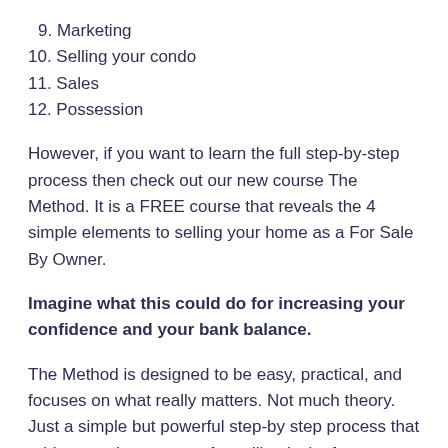9. Marketing
10. Selling your condo
11. Sales
12. Possession
However, if you want to learn the full step-by-step process then check out our new course The Method. It is a FREE course that reveals the 4 simple elements to selling your home as a For Sale By Owner.
Imagine what this could do for increasing your confidence and your bank balance.
The Method is designed to be easy, practical, and focuses on what really matters. Not much theory. Just a simple but powerful step-by step process that addresses the common fears like: lack of confidence in closing the sale / feelings of overwhelm / costing you all your free time / daunting legal